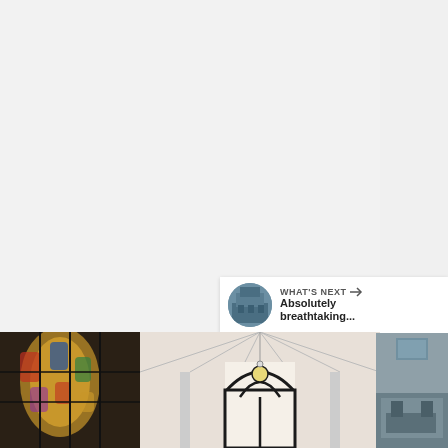[Figure (photo): Screenshot of a web/app interface showing a large white/light gray area (main content area, possibly a church interior photo that is mostly white ceiling), with UI overlay elements including a teal heart/like button showing 1.4K likes, a white share button, a 'WHAT'S NEXT' panel with thumbnail and text 'Absolutely breathtaking...', and a bottom strip showing church interior photos with stained glass windows and gothic arched windows.]